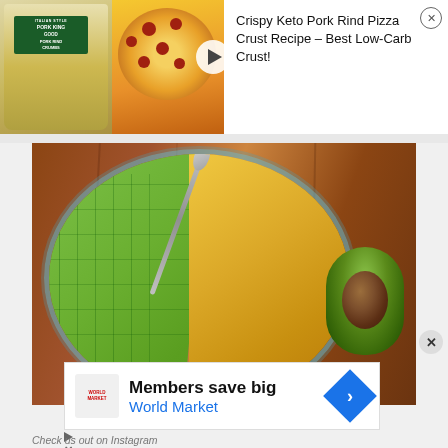[Figure (photo): Advertisement banner showing a jar of Pork King Good Italian Style Pork Rind Crumbs on the left and a pepperoni pizza on the right, with a play button overlay]
Crispy Keto Pork Rind Pizza Crust Recipe – Best Low-Carb Crust!
[Figure (photo): Top-down view of a glass bowl containing diced avocado on the left and yellow egg salad on the right, with a spoon, and a halved avocado with pit visible on the right side, on a wooden surface]
[Figure (infographic): Inline advertisement: Members save big World Market, with a blue diamond arrow icon]
Check us out on Instagram